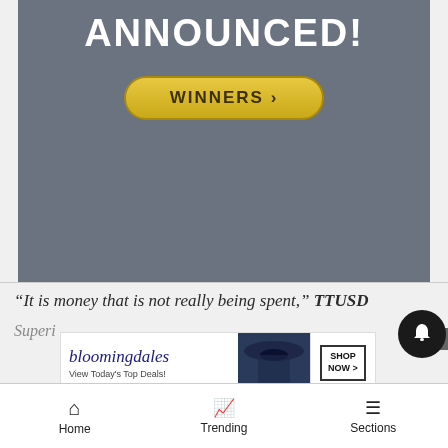[Figure (screenshot): Gray advertisement banner with bold white text 'ANNOUNCED!' and a gold WINNERS button]
“It is money that is not really being spent,” TTUSD
Superi...
[Figure (screenshot): Bloomingdale's advertisement banner showing 'View Today's Top Deals!' with SHOP NOW button and woman in hat]
Home  Trending  Sections